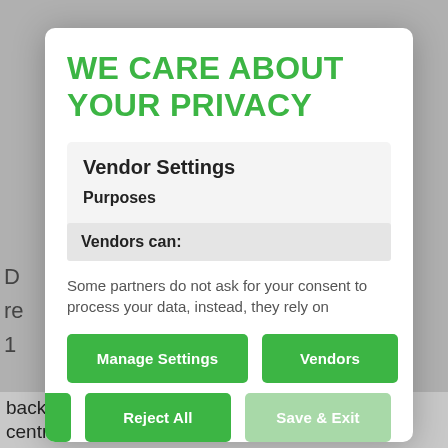WE CARE ABOUT YOUR PRIVACY
Vendor Settings
Purposes
Vendors can:
Some partners do not ask for your consent to process your data, instead, they rely on
Manage Settings
Vendors
Accept All
Reject All
Save & Exit
back negative and now I am out of the isolation centre.